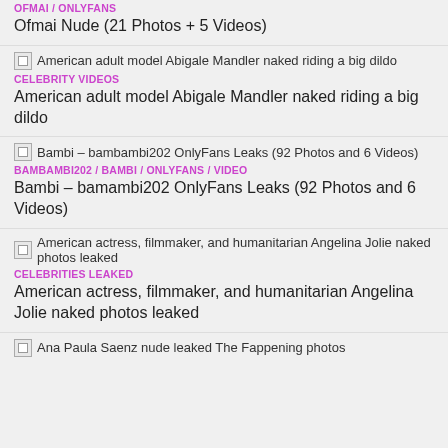Ofmai Nude (21 Photos + 5 Videos)
[Figure (other): Thumbnail image: American adult model Abigale Mandler naked riding a big dildo]
CELEBRITY VIDEOS
American adult model Abigale Mandler naked riding a big dildo
[Figure (other): Thumbnail image: Bambi – bambambi202 OnlyFans Leaks (92 Photos and 6 Videos)]
BAMBAMBI202 / BAMBI / ONLYFANS / VIDEO
Bambi – bambambi202 OnlyFans Leaks (92 Photos and 6 Videos)
[Figure (other): Thumbnail image: American actress, filmmaker, and humanitarian Angelina Jolie naked photos leaked]
CELEBRITIES LEAKED
American actress, filmmaker, and humanitarian Angelina Jolie naked photos leaked
[Figure (other): Thumbnail image: Ana Paula Saenz nude leaked The Fappening photos]